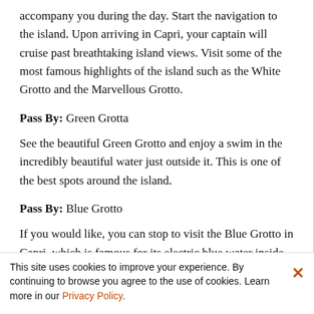accompany you during the day. Start the navigation to the island. Upon arriving in Capri, your captain will cruise past breathtaking island views. Visit some of the most famous highlights of the island such as the White Grotto and the Marvellous Grotto.
Pass By: Green Grotta
See the beautiful Green Grotto and enjoy a swim in the incredibly beautiful water just outside it. This is one of the best spots around the island.
Pass By: Blue Grotto
If you would like, you can stop to visit the Blue Grotto in Capri, which is famous for its electric blue water inside.
Pass By: Marina Piccola...
This site uses cookies to improve your experience. By continuing to browse you agree to the use of cookies. Learn more in our Privacy Policy.